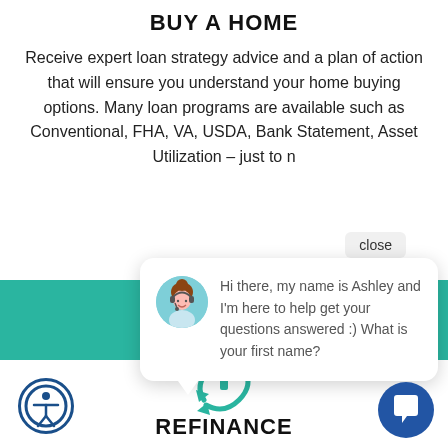BUY A HOME
Receive expert loan strategy advice and a plan of action that will ensure you understand your home buying options. Many loan programs are available such as Conventional, FHA, VA, USDA, Bank Statement, Asset Utilization – just to n
[Figure (screenshot): Chat popup with avatar of Ashley (customer service agent with headset) and message: Hi there, my name is Ashley and I'm here to help get your questions answered :) What is your first name?]
[Figure (illustration): Teal refresh/chat icon in the teal band section]
REFINANCE
[Figure (illustration): Accessibility icon (person in circle) in bottom left]
[Figure (illustration): Blue chat bubble icon in bottom right]